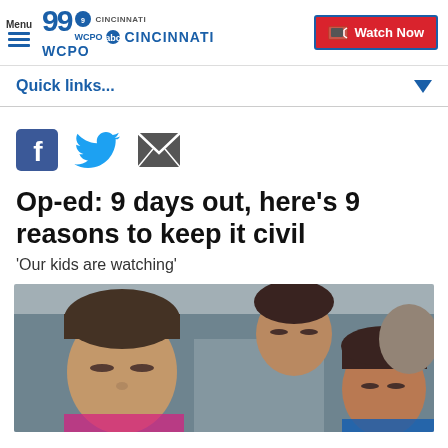Menu | WCPO 9 CINCINNATI | Watch Now
Quick links...
[Figure (other): Social sharing icons: Facebook, Twitter, Email]
Op-ed: 9 days out, here's 9 reasons to keep it civil
'Our kids are watching'
[Figure (photo): Photo of children and adults looking upward in a crowd, appearing somber or reflective]